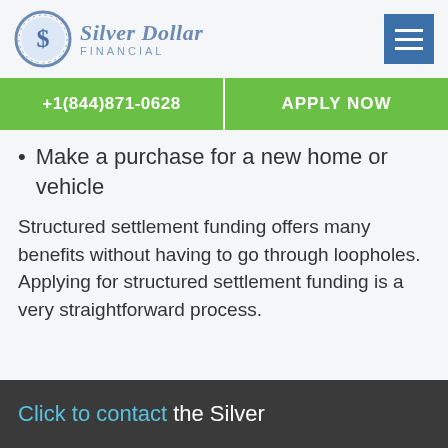[Figure (logo): Silver Dollar Financial logo — circular coin icon with dollar sign, company name 'Silver Dollar FINANCIAL' in blue serif text]
+1(844)871-0628
APPLY NOW
Make a purchase for a new home or vehicle
Structured settlement funding offers many benefits without having to go through loopholes. Applying for structured settlement funding is a very straightforward process.
Click to contact the Silver